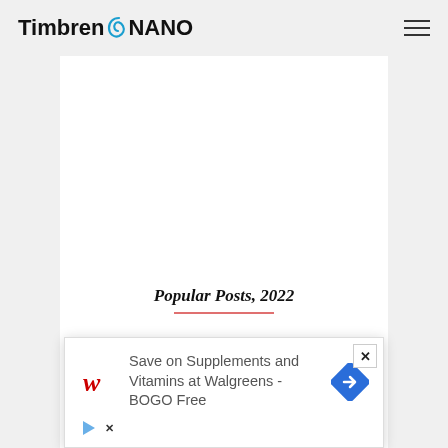Timbren NANO
Popular Posts, 2022
[Figure (other): Thumbnail image for a blog post featuring a pie/donut chart with pink, orange and blue segments, with text overlay]
Calories in Horseradish Tree
[Figure (advertisement): Advertisement overlay: Save on Supplements and Vitamins at Walgreens - BOGO Free, with Walgreens W logo and navigation arrow icon]